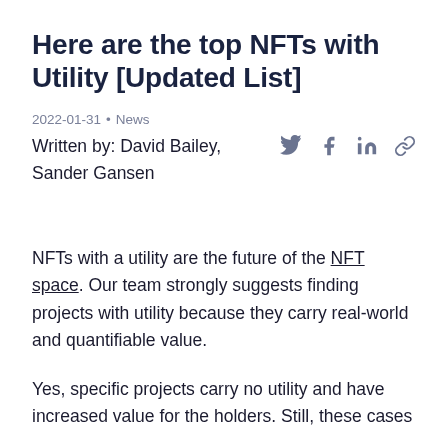Here are the top NFTs with Utility [Updated List]
2022-01-31 • News
Written by: David Bailey, Sander Gansen
NFTs with a utility are the future of the NFT space. Our team strongly suggests finding projects with utility because they carry real-world and quantifiable value.
Yes, specific projects carry no utility and have increased value for the holders. Still, these cases are on...